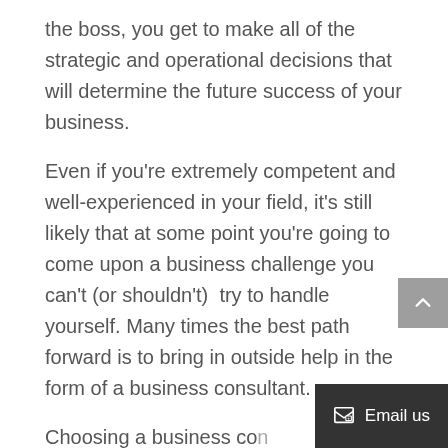the boss, you get to make all of the strategic and operational decisions that will determine the future success of your business.
Even if you're extremely competent and well-experienced in your field, it's still likely that at some point you're going to come upon a business challenge you can't (or shouldn't)  try to handle yourself. Many times the best path forward is to bring in outside help in the form of a business consultant.
Choosing a business con…